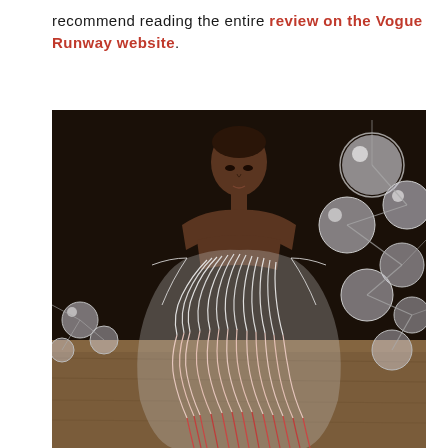recommend reading the entire review on the Vogue Runway website.
[Figure (photo): A model walks the runway wearing an avant-garde sculptural dress with intricate swirling white-to-red ombre wire or ribbon patterns forming a dramatic silhouette. The background is dark with large white spherical light installations on metal frames visible to the right and left. The runway floor is wooden.]